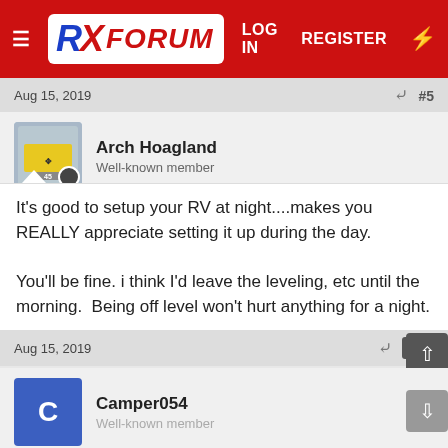[Figure (screenshot): RX Forum website header with red background, forum logo (RX Forum), LOG IN and REGISTER navigation links, and lightning bolt icon]
Aug 15, 2019  #5
Arch Hoagland
Well-known member
It's good to setup your RV at night....makes you REALLY appreciate setting it up during the day.

You'll be fine. i think I'd leave the leveling, etc until the morning.  Being off level won't hurt anything for a night.
Aug 15, 2019  #6
Camper054
Well-known member